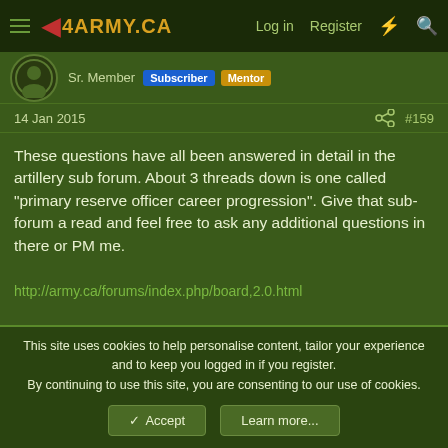4ARMY.CA  Log in  Register
Sr. Member  Subscriber  Mentor
14 Jan 2015  #159
These questions have all been answered in detail in the artillery sub forum. About 3 threads down is one called "primary reserve officer career progression". Give that sub-forum a read and feel free to ask any additional questions in there or PM me.

http://army.ca/forums/index.php/board,2.0.html

Best of luck,

Jeff
This site uses cookies to help personalise content, tailor your experience and to keep you logged in if you register. By continuing to use this site, you are consenting to our use of cookies.